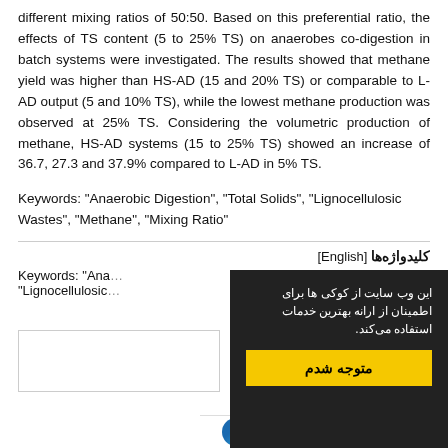different mixing ratios of 50:50. Based on this preferential ratio, the effects of TS content (5 to 25% TS) on anaerobes co-digestion in batch systems were investigated. The results showed that methane yield was higher than HS-AD (15 and 20% TS) or comparable to L-AD output (5 and 10% TS), while the lowest methane production was observed at 25% TS. Considering the volumetric production of methane, HS-AD systems (15 to 25% TS) showed an increase of 36.7, 27.3 and 37.9% compared to L-AD in 5% TS.
Keywords: "Anaerobic Digestion", "Total Solids", "Lignocellulosic Wastes", "Methane", "Mixing Ratio"
کلیدواژه‌ها [English]
Keywords: "Anaerobic Digestion", "Lignocellulosic...
[Figure (other): Cookie consent popup overlay in dark background with Persian text and yellow button labeled 'متوجه شدم']